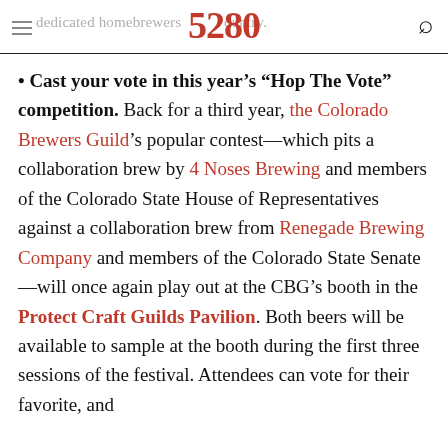dedicated homebrewers country. 5280
Cast your vote in this year's “Hop The Vote” competition. Back for a third year, the Colorado Brewers Guild’s popular contest—which pits a collaboration brew by 4 Noses Brewing and members of the Colorado State House of Representatives against a collaboration brew from Renegade Brewing Company and members of the Colorado State Senate—will once again play out at the CBG’s booth in the Protect Craft Guilds Pavilion. Both beers will be available to sample at the booth during the first three sessions of the festival. Attendees can vote for their favorite, and